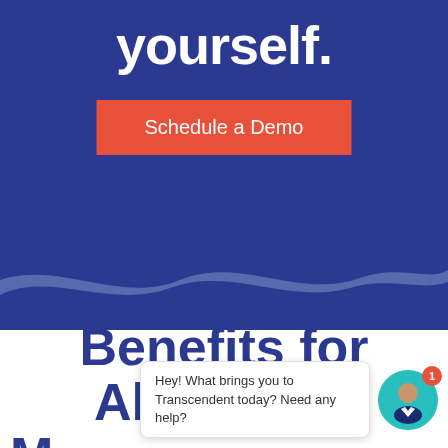yourself.
Schedule a Demo
Benefits for All Facility M... Operations
Hey! What brings you to Transcendent today? Need any help?